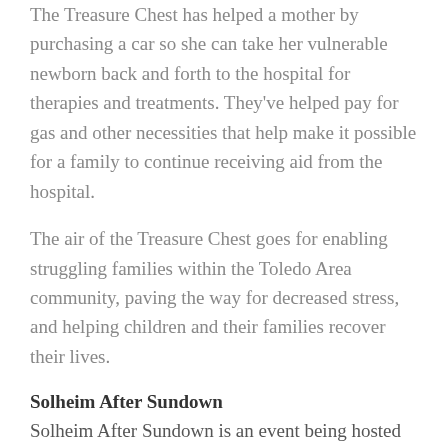The Treasure Chest has helped a mother by purchasing a car so she can take her vulnerable newborn back and forth to the hospital for therapies and treatments. They've helped pay for gas and other necessities that help make it possible for a family to continue receiving aid from the hospital.
The air of the Treasure Chest goes for enabling struggling families within the Toledo Area community, paving the way for decreased stress, and helping children and their families recover their lives.
Solheim After Sundown
Solheim After Sundown is an event being hosted in Toledo, Ohio the Tuesday of the Solheim Cup tournament week and the presenting sponsor will be The Danberry Co.